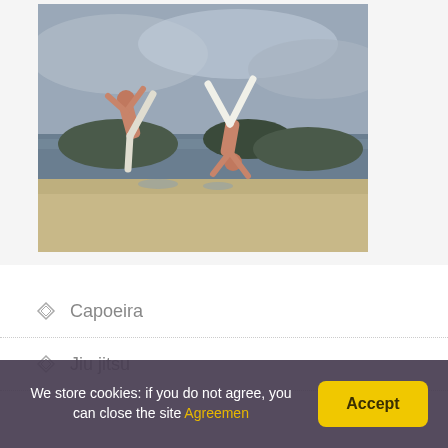[Figure (photo): Two practitioners performing capoeira martial arts on a sandy beach near the water, with mountains visible in the background under a cloudy sky. One person is shirtless with white pants kicking high, the other is in a white uniform doing a handstand-like move.]
Capoeira
Jiu jitsu
We store cookies: if you do not agree, you can close the site Agreemen